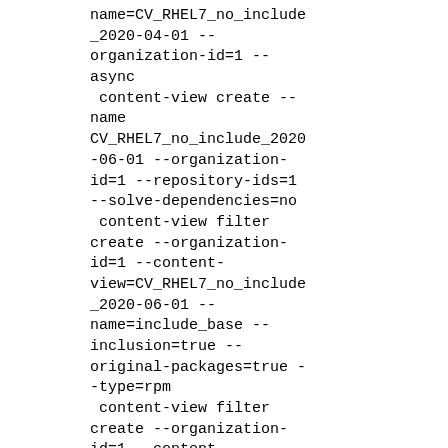name=CV_RHEL7_no_include_2020-04-01 --organization-id=1 --async
 content-view create --name CV_RHEL7_no_include_2020-06-01 --organization-id=1 --repository-ids=1 --solve-dependencies=no
 content-view filter create --organization-id=1 --content-view=CV_RHEL7_no_include_2020-06-01 --name=include_base --inclusion=true --original-packages=true --type=rpm
 content-view filter create --organization-id=1 --content-view=CV_RHEL7_no_include_2020-06-01 --name=include_errata --inclusion=true --type=erratum
 content-view filter rule create --organization-id=1 --